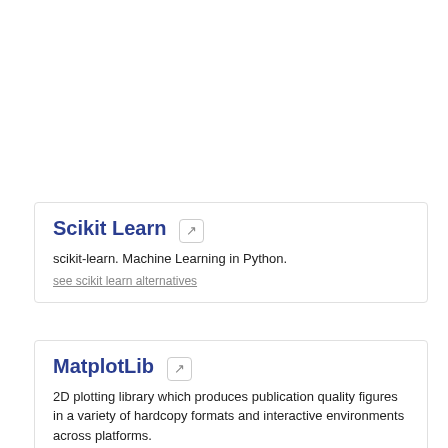Scikit Learn
scikit-learn. Machine Learning in Python.
see scikit learn alternatives
MatplotLib
2D plotting library which produces publication quality figures in a variety of hardcopy formats and interactive environments across platforms.
see matplotlib alternatives